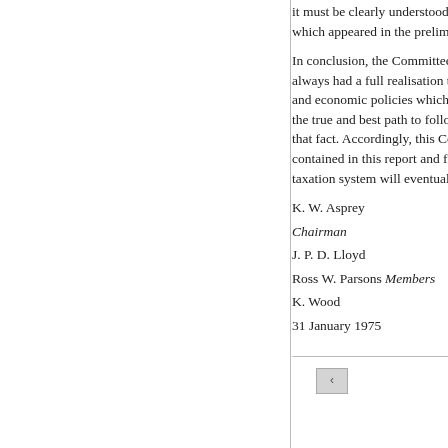it must be clearly understood which appeared in the prelimi
In conclusion, the Committee always had a full realisation th and economic policies which the true and best path to follo that fact. Accordingly, this Co contained in this report and fr taxation system will eventually
K. W. Asprey
Chairman
J. P. D. Lloyd
Ross W. Parsons Members
K. Wood
31 January 1975